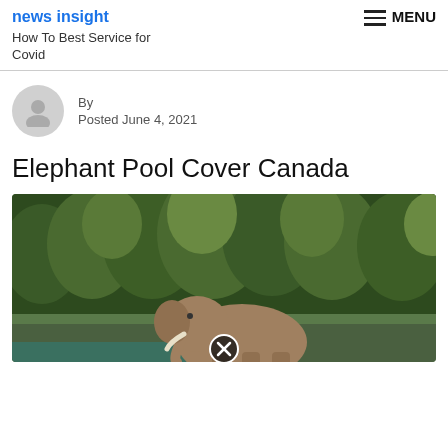How To Best Service for Covid
By
Posted June 4, 2021
Elephant Pool Cover Canada
[Figure (photo): An elephant standing near water with dense green forest trees in the background. A close/X button icon is overlaid near the bottom center of the image.]